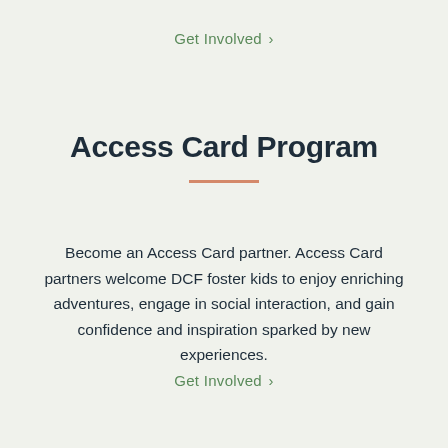Get Involved ›
Access Card Program
Become an Access Card partner. Access Card partners welcome DCF foster kids to enjoy enriching adventures, engage in social interaction, and gain confidence and inspiration sparked by new experiences.
Get Involved ›